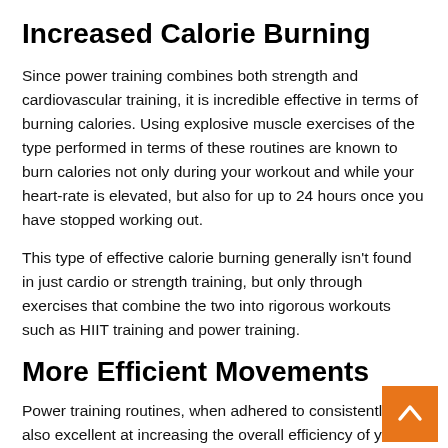Increased Calorie Burning
Since power training combines both strength and cardiovascular training, it is incredible effective in terms of burning calories. Using explosive muscle exercises of the type performed in terms of these routines are known to burn calories not only during your workout and while your heart-rate is elevated, but also for up to 24 hours once you have stopped working out.
This type of effective calorie burning generally isn't found in just cardio or strength training, but only through exercises that combine the two into rigorous workouts such as HIIT training and power training.
More Efficient Movements
Power training routines, when adhered to consistently, are also excellent at increasing the overall efficiency of your